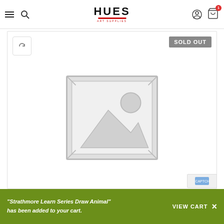HUES — navigation header with hamburger menu, search, logo, account and cart icons
[Figure (screenshot): Product page placeholder image showing a grey image-not-available icon (mountain and sun outline). SOLD OUT badge in top right. Refresh icon button in top left.]
"Strathmore Learn Series Draw Animal" has been added to your cart.
VIEW CART